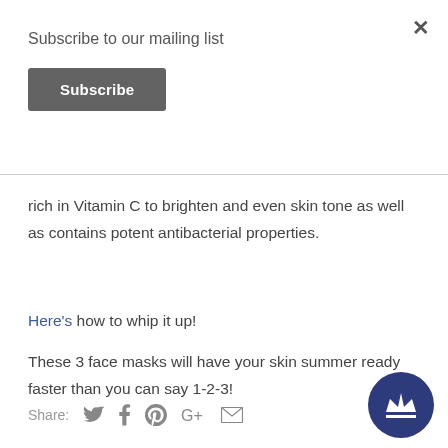Subscribe to our mailing list
Subscribe
rich in Vitamin C to brighten and even skin tone as well as contains potent antibacterial properties.
Here's how to whip it up!
These 3 face masks will have your skin summer ready faster than you can say 1-2-3!
Share: